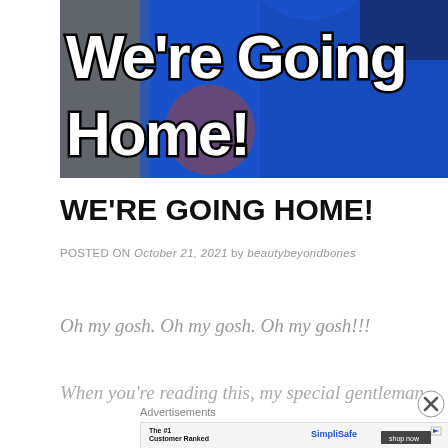[Figure (photo): Photo of people wearing blue Pepsi-branded jerseys with large white bold outlined text overlay reading 'We're Going Home!']
WE'RE GOING HOME!
POSTED ON October 21, 2021 by beautybeyondbones
Oh my gosh. Oh my gosh. Oh my gosh!!!
When you're reading this, my special gentleman
Advertisements
[Figure (screenshot): SimpliSafe advertisement banner: 'The #1 Customer Ranked Home Security' with SimpliSafe logo and 'shop now' button]